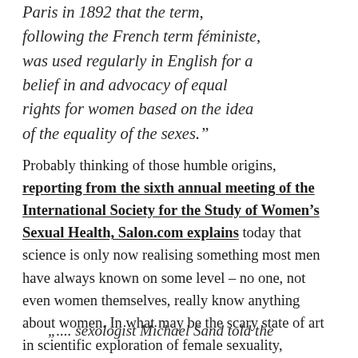Paris in 1892 that the term, following the French term féministe, was used regularly in English for a belief in and advocacy of equal rights for women based on the idea of the equality of the sexes.”
Probably thinking of those humble origins, reporting from the sixth annual meeting of the International Society for the Study of Women’s Sexual Health, Salon.com explains today that science is only now realising something most men have always known on some level – no one, not even women themselves, really know anything about women. In what may be the scary state of art in scientific exploration of female sexuality,
„.... sexologist Michael Sand told the